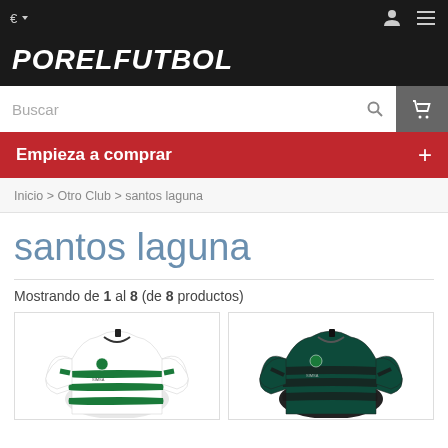€  [user icon] [menu icon]
[Figure (logo): PORELFUTBOL logo in white bold italic text on dark background]
Buscar [search icon] [cart icon]
Empieza a comprar +
Inicio > Otro Club > santos laguna
santos laguna
Mostrando de 1 al 8 (de 8 productos)
[Figure (photo): Santos Laguna white and green striped home jersey]
[Figure (photo): Santos Laguna dark teal/black striped away jersey]